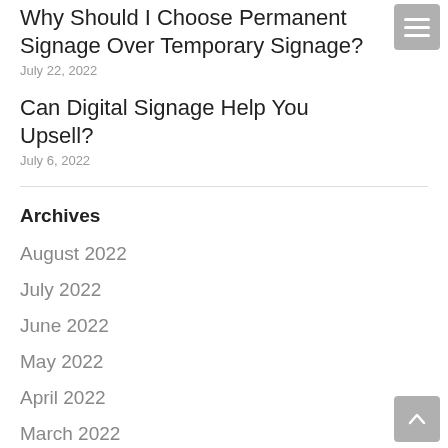Why Should I Choose Permanent Signage Over Temporary Signage?
July 22, 2022
Can Digital Signage Help You Upsell?
July 6, 2022
Archives
August 2022
July 2022
June 2022
May 2022
April 2022
March 2022